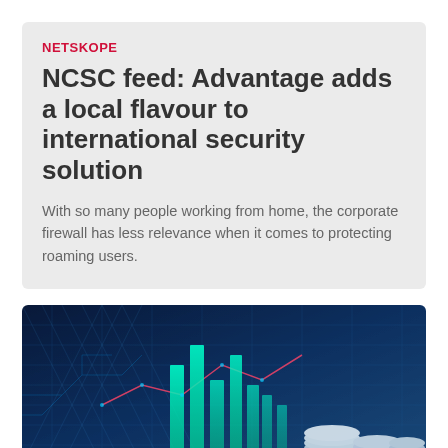NETSKOPE
NCSC feed: Advantage adds a local flavour to international security solution
With so many people working from home, the corporate firewall has less relevance when it comes to protecting roaming users.
[Figure (photo): Digital finance technology background with glowing green bar charts, network lines, coins, and blue circuit patterns]